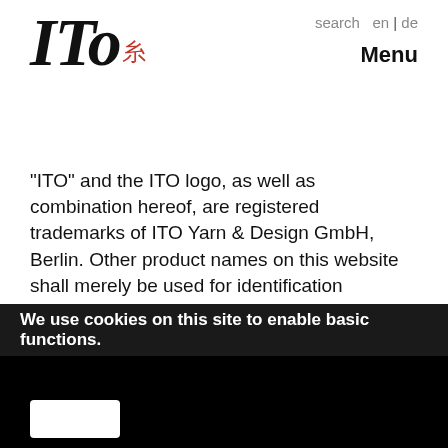[Figure (logo): ITO handwritten logo with red kanji character]
search  en | de
Menu
"ITO" and the ITO logo, as well as combination hereof, are registered trademarks of ITO Yarn & Design GmbH, Berlin. Other product names on this website shall merely be used for identification purposes and are therefore not a breach of trademark rights.
Copyrights
© ITO Yarn & Design GmbH, Berlin, Germany. All rights are reserved. Graphics, sound, text, photographs, animations and videos, as well as their arrangement on the ITO Yarn & Design GmbH website, are subject to copyrights and
We use cookies on this site to enable basic functions.